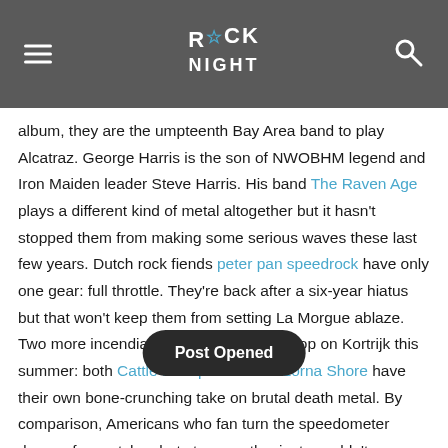Rock Night [logo]
album, they are the umpteenth Bay Area band to play Alcatraz. George Harris is the son of NWOBHM legend and Iron Maiden leader Steve Harris. His band The Raven Age plays a different kind of metal altogether but it hasn't stopped them from making some serious waves these last few years. Dutch rock fiends peter pan speedrock have only one gear: full throttle. They're back after a six-year hiatus but that won't keep them from setting La Morgue ablaze. Two more incendiary bombs are set to drop on Kortrijk this summer: both Cattle Decapitation and Lorna Shore have their own bone-crunching take on brutal death metal. By comparison, Americans who fan turn the speedometer down a few notches but stoner enthusiasts couldn't care less. Putting together a
Post Opened